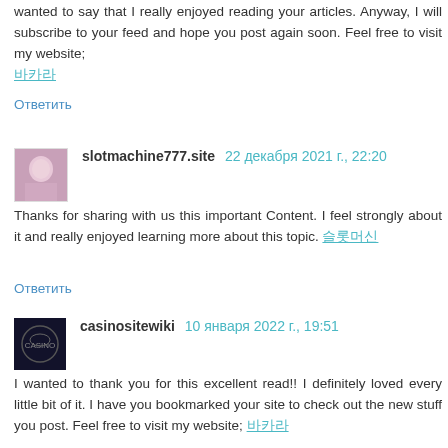wanted to say that I really enjoyed reading your articles. Anyway, I will subscribe to your feed and hope you post again soon. Feel free to visit my website; 바카라
Ответить
slotmachine777.site  22 декабря 2021 г., 22:20
Thanks for sharing with us this important Content. I feel strongly about it and really enjoyed learning more about this topic. 슬롯머신
Ответить
casinositewiki  10 января 2022 г., 19:51
I wanted to thank you for this excellent read!! I definitely loved every little bit of it. I have you bookmarked your site to check out the new stuff you post. Feel free to visit my website; 바카라